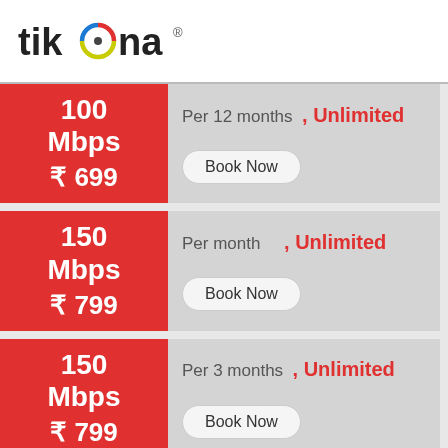[Figure (logo): Tikona logo — stylized text 'tikona' with a circular icon between 'tik' and 'na', colored in red, blue, and green/yellow]
| Speed & Price | Plan Details |
| --- | --- |
| 100 Mbps ₹ 699 | Per 12 months , Unlimited | Book Now |
| 150 Mbps ₹ 799 | Per month , Unlimited | Book Now |
| 150 Mbps ₹ 799 | Per 3 months , Unlimited | Book Now |
| 150 Mbps | Per 6 months |